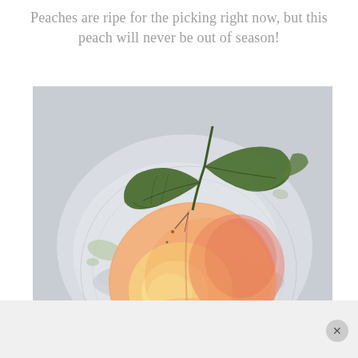Peaches are ripe for the picking right now, but this peach will never be out of season!
[Figure (illustration): Watercolor painting of a peach with green leaves on top, set against a light grey background. The peach is round with yellow, orange, and pink hues. An artist's signature is visible in the lower right corner.]